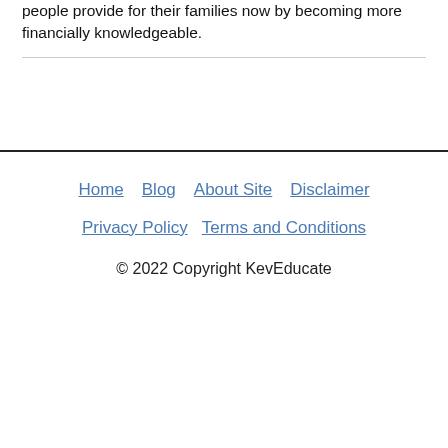people provide for their families now by becoming more financially knowledgeable.
Home  Blog  About Site  Disclaimer  Privacy Policy  Terms and Conditions
© 2022 Copyright KevEducate